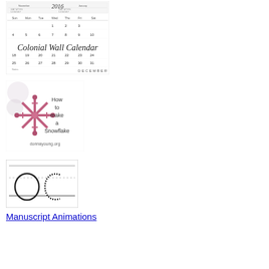[Figure (illustration): Colonial Wall Calendar image showing a December 2016 calendar page with the text 'Colonial Wall Calendar' overlaid]
[Figure (illustration): Image showing pink snowflake decorations with text 'How to make a Snowflake' and 'donnayoung.org']
[Figure (illustration): Image showing manuscript handwriting animation preview with letter outlines on lined paper]
Manuscript Animations